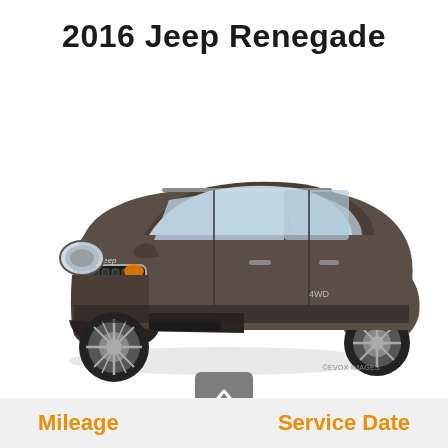2016 Jeep Renegade
[Figure (photo): Front three-quarter view of a 2016 Jeep Renegade in dark grey/granite crystal metallic color on a white background]
©EVOX IMAGES
Mileage
Service Date